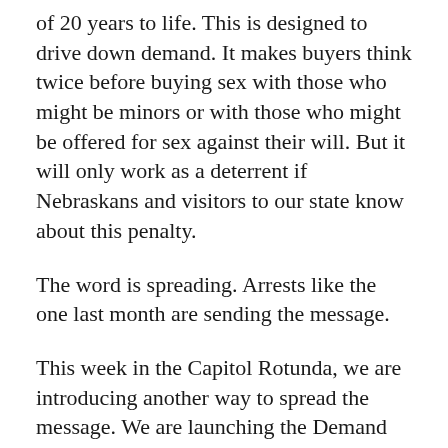of 20 years to life. This is designed to drive down demand. It makes buyers think twice before buying sex with those who might be minors or with those who might be offered for sex against their will. But it will only work as a deterrent if Nebraskans and visitors to our state know about this penalty.
The word is spreading. Arrests like the one last month are sending the message.
This week in the Capitol Rotunda, we are introducing another way to spread the message. We are launching the Demand An End ad campaign, warning buyers they are not as invisible as they think. Let’s loudly proclaim to those living and entering our state from border to border—buying sex with a minor is not only immoral, but it also carries significant criminal